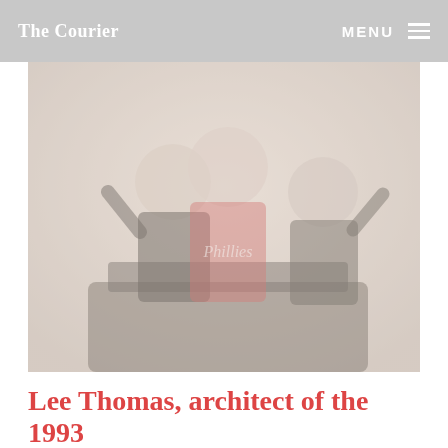The Courier    MENU
[Figure (photo): Three men waving from a vehicle, one wearing a red Phillies jersey, others in suits. Faded/washed-out photo.]
Lee Thomas, architect of the 1993 Phillies, dies at 86